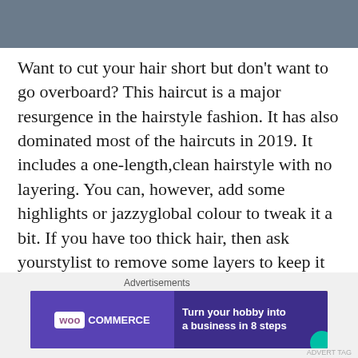[Figure (photo): Bottom portion of a person wearing a light blue shirt or jacket, cropped close]
Want to cut your hair short but don't want to go overboard? This haircut is a major resurgence in the hairstyle fashion. It has also dominated most of the haircuts in 2019. It includes a one-length,clean hairstyle with no layering. You can, however, add some highlights or jazzyglobal colour to tweak it a bit. If you have too thick hair, then ask yourstylist to remove some layers to keep it manageable.
[Figure (advertisement): WooCommerce advertisement banner: 'Turn your hobby into a business in 8 steps' on dark purple background with teal, orange, and blue decorative shapes]